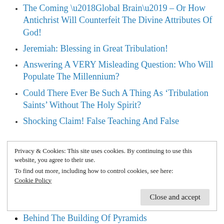The Coming ‘Global Brain’ – Or How Antichrist Will Counterfeit The Divine Attributes Of God!
Jeremiah: Blessing in Great Tribulation!
Answering A VERY Misleading Question: Who Will Populate The Millennium?
Could There Ever Be Such A Thing As ‘Tribulation Saints’ Without The Holy Spirit?
Shocking Claim! False Teaching And False
Privacy & Cookies: This site uses cookies. By continuing to use this website, you agree to their use.
To find out more, including how to control cookies, see here: Cookie Policy
Behind The Building Of Pyramids